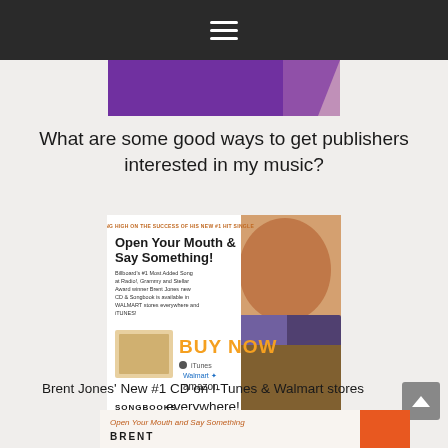≡ (navigation menu)
[Figure (photo): Purple and pink gradient banner/header image]
What are some good ways to get publishers interested in my music?
[Figure (photo): Advertisement for Brent Jones' new #1 CD 'Open Your Mouth & Say Something!' — Billboard's #1 Most Added Song at Radio!, Grammy and Stellar Award winner. Available in WALMART stores everywhere and iTunes. BUY NOW — iTunes, Walmart, amazon. SONGBOOKS. BRENT JONES name in orange on black bar.]
Brent Jones' New #1 CD on I-Tunes & Walmart stores everywhere!
[Figure (photo): Bottom partial image showing 'Open Your Mouth and Say Something' text and BRENT JONES name with orange rectangle]